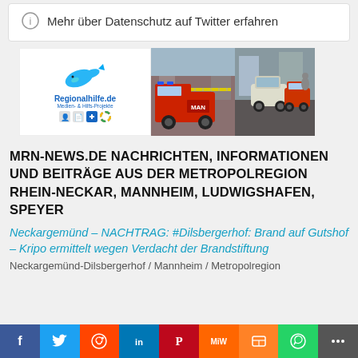Mehr über Datenschutz auf Twitter erfahren
[Figure (illustration): Regionalhilfe.de banner with dolphin logo and icons on left, fire truck image in middle, emergency vehicles on right]
MRN-NEWS.DE NACHRICHTEN, INFORMATIONEN UND BEITRÄGE AUS DER METROPOLREGION RHEIN-NECKAR, MANNHEIM, LUDWIGSHAFEN, SPEYER
Neckargemünd – NACHTRAG: #Dilsbergerhof: Brand auf Gutshof – Kripo ermittelt wegen Verdacht der Brandstiftung
Neckargemünd-Dilsbergerhof / Mannheim / Metropolregion
[Figure (infographic): Social media share bar with Facebook, Twitter, Reddit, LinkedIn, Pinterest, MiMedia, Mix, WhatsApp, and share buttons]